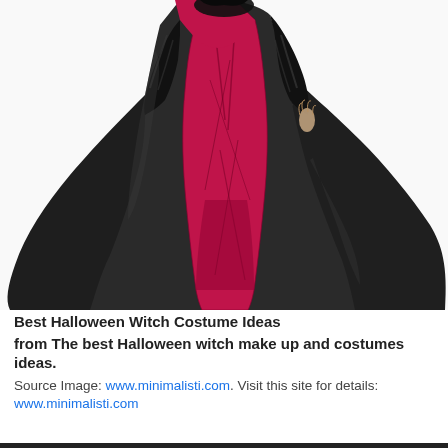[Figure (photo): A person wearing a Halloween witch costume consisting of a dramatic black satin cape/skirt and a crimson red lace-overlay dress underneath, with black lace sleeves. The figure is photographed from roughly chest-down against a white background.]
Best Halloween Witch Costume Ideas
from The best Halloween witch make up and costumes ideas.
Source Image: www.minimalisti.com. Visit this site for details:
www.minimalisti.com